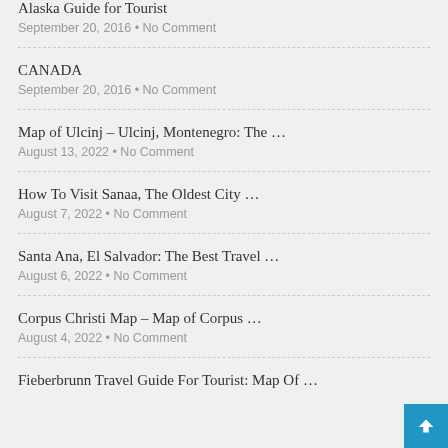Alaska Guide for Tourist
September 20, 2016 • No Comment
CANADA
September 20, 2016 • No Comment
Map of Ulcinj – Ulcinj, Montenegro: The …
August 13, 2022 • No Comment
How To Visit Sanaa, The Oldest City …
August 7, 2022 • No Comment
Santa Ana, El Salvador: The Best Travel …
August 6, 2022 • No Comment
Corpus Christi Map – Map of Corpus …
August 4, 2022 • No Comment
Fieberbrunn Travel Guide For Tourist: Map Of …